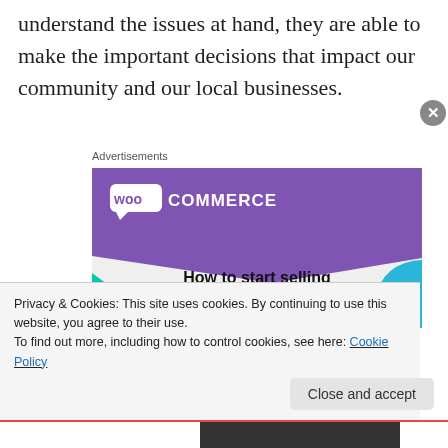understand the issues at hand, they are able to make the important decisions that impact our community and our local businesses.
Advertisements
[Figure (illustration): WooCommerce advertisement banner showing the WooCommerce logo on a purple background with teal and blue geometric accents. Text reads 'How to start selling subscriptions online']
Privacy & Cookies: This site uses cookies. By continuing to use this website, you agree to their use.
To find out more, including how to control cookies, see here: Cookie Policy
Close and accept